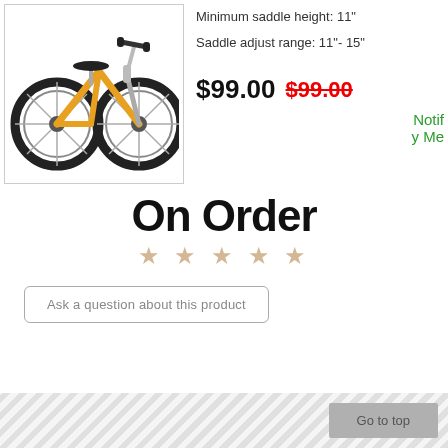[Figure (photo): Yellow balance bike (children's bicycle without pedals) with black tires and silver handlebars, shown against white background inside a bordered box.]
Minimum saddle height: 11"
Saddle adjust range: 11"- 15"
$99.00
$99.00 (strikethrough, red)
Notify Me
On Order
★★★★★
Ask a question about this product
Go to top